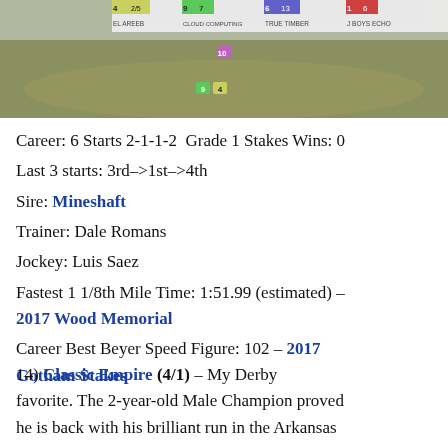[Figure (photo): Aerial/overhead view of a horse race in progress, with four horses shown with scoreboard overlays identifying El Areeb (4, 2/5), Cloud Computing (9, 7), True Timber (6, 13), and J Boys Echo (1, 6). Numbers 10, 9, and 4 visible on track.]
Career: 6 Starts 2-1-1-2  Grade 1 Stakes Wins: 0
Last 3 starts: 3rd–>1st–>4th
Sire: Mineshaft
Trainer: Dale Romans
Jockey: Luis Saez
Fastest 1 1/8th Mile Time: 1:51.99 (estimated) – 2017 Wood Memorial
Career Best Beyer Speed Figure: 102 – 2017 Gotham Stakes
14) Classic Empire (4/1) – My Derby favorite. The 2-year-old Male Champion proved he is back with his brilliant run in the Arkansas